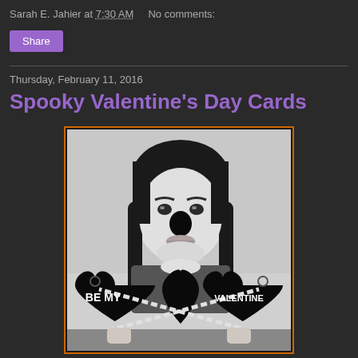Sarah E. Jahier at 7:30 AM   No comments:
Share
Thursday, February 11, 2016
Spooky Valentine's Day Cards
[Figure (photo): Black and white photo of a young girl with braided pigtails holding dark heart-shaped valentines that read 'BE MY VALENTINE' in white text, with a spooky/creepy aesthetic.]